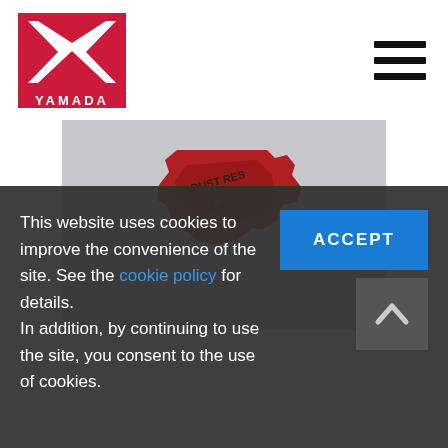[Figure (logo): YAMADA logo - red background with white X bowtie design and YAMADA text below]
[Figure (photo): Red industrial/mechanical component (appears to be a sensor or connector part) photographed against a light grey background with text markings visible]
This website uses cookies to improve the convenience of the site. See the cookie policy for details.
In addition, by continuing to use the site, you consent to the use of cookies.